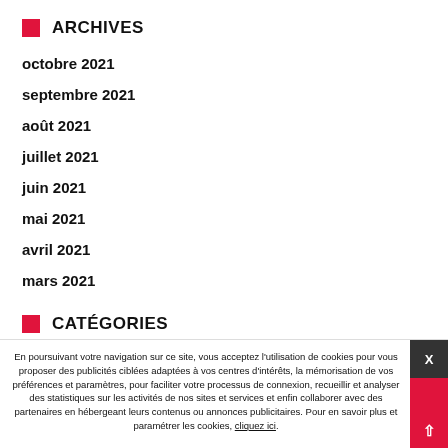ARCHIVES
octobre 2021
septembre 2021
août 2021
juillet 2021
juin 2021
mai 2021
avril 2021
mars 2021
CATÉGORIES
En poursuivant votre navigation sur ce site, vous acceptez l'utilisation de cookies pour vous proposer des publicités ciblées adaptées à vos centres d'intérêts, la mémorisation de vos préférences et paramètres, pour faciliter votre processus de connexion, recueillir et analyser des statistiques sur les activités de nos sites et services et enfin collaborer avec des partenaires en hébergeant leurs contenus ou annonces publicitaires. Pour en savoir plus et paramétrer les cookies, cliquez ici.